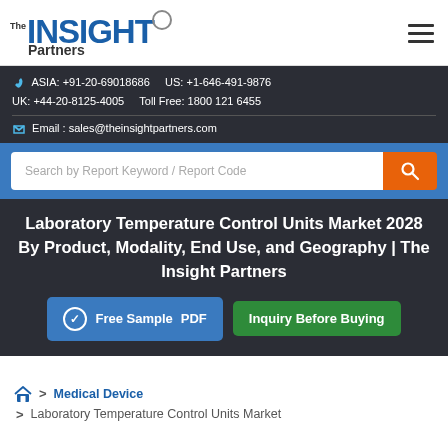The Insight Partners
ASIA: +91-20-69018686    US: +1-646-491-9876
UK: +44-20-8125-4005    Toll Free: 1800 121 6455
Email : sales@theinsightpartners.com
Search by Report Keyword / Report Code
Laboratory Temperature Control Units Market 2028 By Product, Modality, End Use, and Geography | The Insight Partners
Free Sample PDF    Inquiry Before Buying
> Medical Device
> Laboratory Temperature Control Units Market